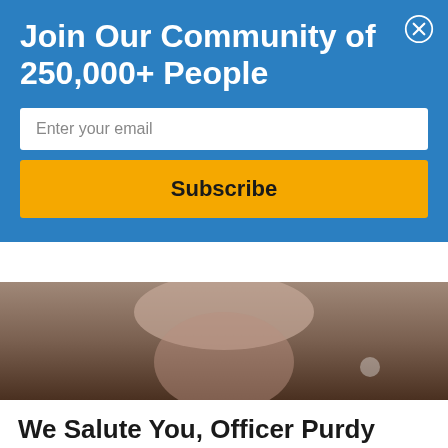Join Our Community of 250,000+ People
Enter your email
Subscribe
[Figure (photo): Close-up photo of a person's lower face/chin, partially visible, with a blurred background]
We Salute You, Officer Purdy
May 20, 2016 / in Featured / by Rachel L. MacAulay
In March, we profiled a police officer in Waukesha, Minnesota, who reacted appropriately and compassionately when he realized that the teenager who was “getting physical” in a local Target store had